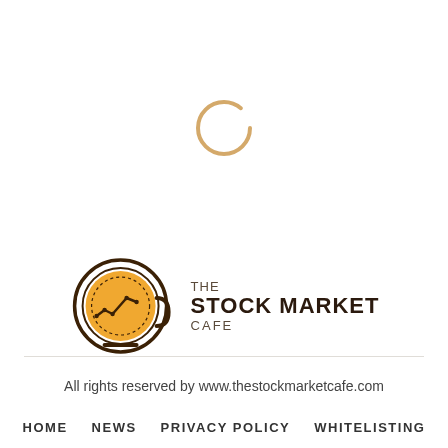[Figure (logo): Circular loading spinner icon in light brown/tan color, partially open circle suggesting loading state]
[Figure (logo): The Stock Market Cafe logo: coffee cup icon with stock market line chart inside, text reads THE STOCK MARKET CAFE]
All rights reserved by www.thestockmarketcafe.com
HOME   NEWS   PRIVACY POLICY   WHITELISTING